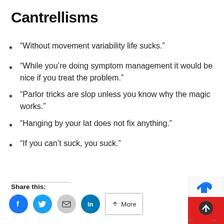Cantrellisms
“Without movement variability life sucks.”
“While you’re doing symptom management it would be nice if you treat the problem.”
“Parlor tricks are slop unless you know why the magic works.”
“Hanging by your lat does not fix anything.”
“If you can’t suck, you suck.”
Share this: